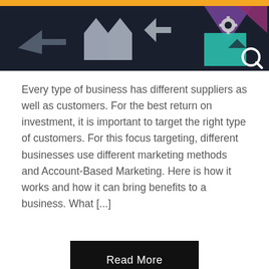[Figure (illustration): Dark navy background banner image with geometric shapes including triangles, arrows, gear icon, and magnifying glass icon in teal, purple, orange, and white colors. An orange bar runs along the top.]
Every type of business has different suppliers as well as customers. For the best return on investment, it is important to target the right type of customers. For this focus targeting, different businesses use different marketing methods and Account-Based Marketing. Here is how it works and how it can bring benefits to a business. What [...]
Read More
Effective Tools for Omnichannel